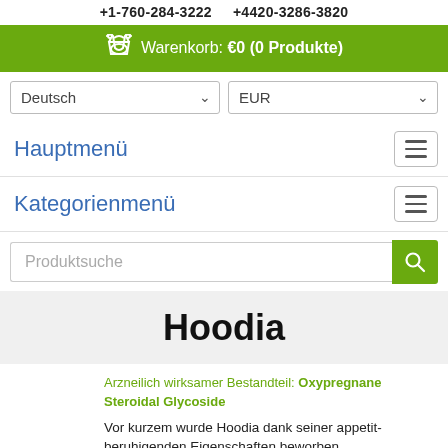+1-760-284-3222   +4420-3286-3820
Warenkorb: €0 (0 Produkte)
Deutsch   EUR
Hauptmenü
Kategorienmenü
Produktsuche
Hoodia
Arzneilich wirksamer Bestandteil: Oxypregnane Steroidal Glycoside
Vor kurzem wurde Hoodia dank seiner appetit-beruhigenden Eigenschaften beworben.